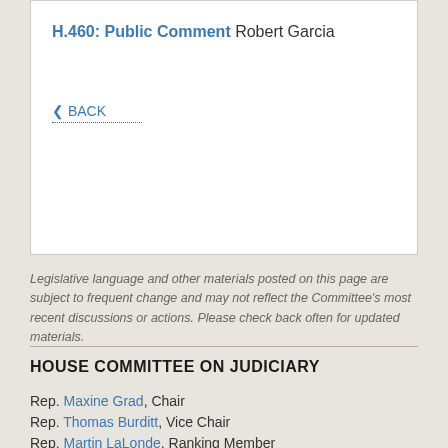H.460: Public Comment Robert Garcia
◀ BACK
Legislative language and other materials posted on this page are subject to frequent change and may not reflect the Committee's most recent discussions or actions. Please check back often for updated materials.
HOUSE COMMITTEE ON JUDICIARY
Rep. Maxine Grad, Chair
Rep. Thomas Burditt, Vice Chair
Rep. Martin LaLonde, Ranking Member
Rep. Kevin "Coach" Christie